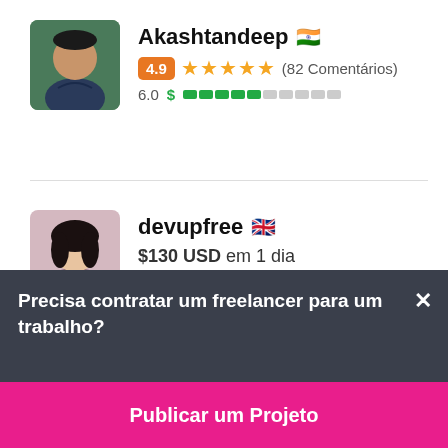Akashtandeep 🇮🇳
4.9 ★★★★★ (82 Comentários)
6.0 $ ▓▓▓▓▓░░░░░
devupfree 🇬🇧
$130 USD em 1 dia
Precisa contratar um freelancer para um trabalho?
Publicar um Projeto